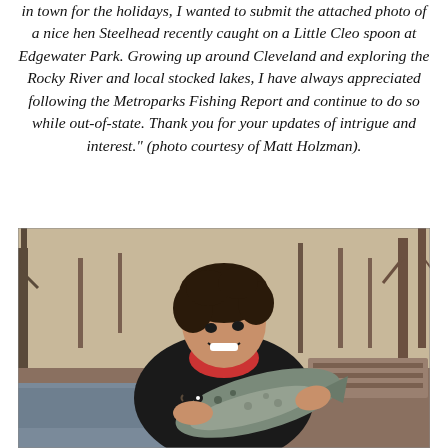in town for the holidays, I wanted to submit the attached photo of a nice hen Steelhead recently caught on a Little Cleo spoon at Edgewater Park. Growing up around Cleveland and exploring the Rocky River and local stocked lakes, I have always appreciated following the Metroparks Fishing Report and continue to do so while out-of-state. Thank you for your updates of intrigue and interest." (photo courtesy of Matt Holzman).
[Figure (photo): A young person with curly brown hair, wearing a black jacket and red shirt, smiling and holding a large steelhead fish. Background shows bare winter trees and a stream or pond. Photo is taken outdoors in a park setting.]